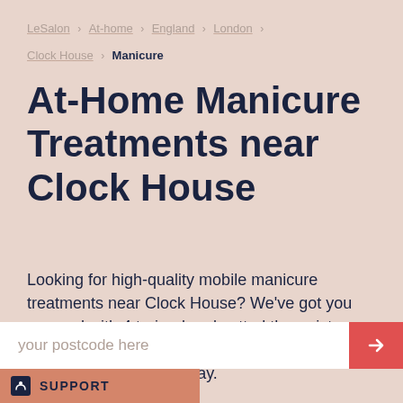LeSalon › At-home › England › London ›
Clock House › Manicure
At-Home Manicure Treatments near Clock House
Looking for high-quality mobile manicure treatments near Clock House? We've got you covered with 4 trained and vetted therapists operating nearby. Instantly book your first LeSalon experience today.
your postcode here
SUPPORT